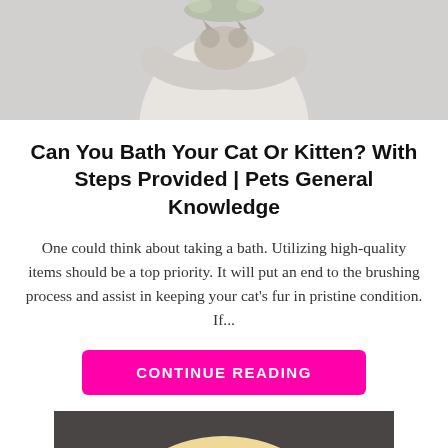[Figure (photo): Person in a light gray/cream sweater holding a cat, cropped from torso up, gray background. Only lower portion of image visible.]
Can You Bath Your Cat Or Kitten? With Steps Provided | Pets General Knowledge
One could think about taking a bath. Utilizing high-quality items should be a top priority. It will put an end to the brushing process and assist in keeping your cat's fur in pristine condition. If...
CONTINUE READING
[Figure (photo): Fluffy light-colored (cream/golden) dog photographed from above against a dark background, only top of dog visible at bottom of page.]